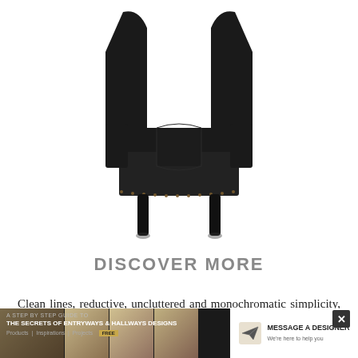[Figure (photo): Black leather wingback armchair with a black pillow on the seat, viewed front-on against a white background. The chair has nailhead trim along the seat edge and dark tapered legs.]
DISCOVER MORE
Clean lines, reductive, uncluttered and monochromatic simplicity, the 'less is more' philosophy are some of the
[Figure (infographic): Dark banner advertisement: 'A STEP BY STEP GUIDE TO THE SECRETS OF ENTRYWAYS & HALLWAYS DESIGNS' with thumbnail images on the left and a 'MESSAGE A DESIGNER' call-to-action button on the right, plus a close (X) button.]